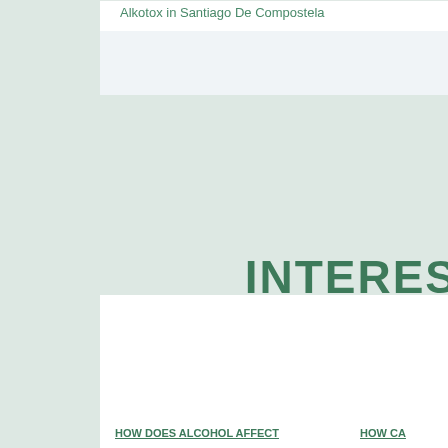Alkotox in Santiago De Compostela
INTERES
[Figure (photo): Photo of a person handling laboratory or medical equipment, blue tones]
[Figure (photo): Partial photo of a person with what appears to be a glass or medical instrument, warm tones]
HOW DOES ALCOHOL AFFECT
HOW CA